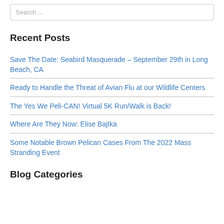Search ...
Recent Posts
Save The Date: Seabird Masquerade – September 29th in Long Beach, CA
Ready to Handle the Threat of Avian Flu at our Wildlife Centers
The Yes We Peli-CAN! Virtual 5K Run/Walk is Back!
Where Are They Now: Elise Bajtka
Some Notable Brown Pelican Cases From The 2022 Mass Stranding Event
Blog Categories